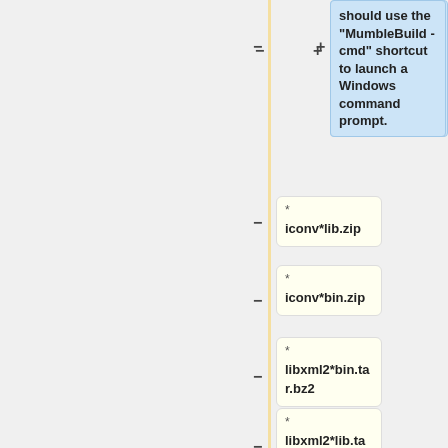should use the "MumbleBuild - cmd" shortcut to launch a Windows command prompt.
* iconv*lib.zip
* iconv*bin.zip
* libxml2*bin.tar.bz2
* libxml2*lib.tar.bz2